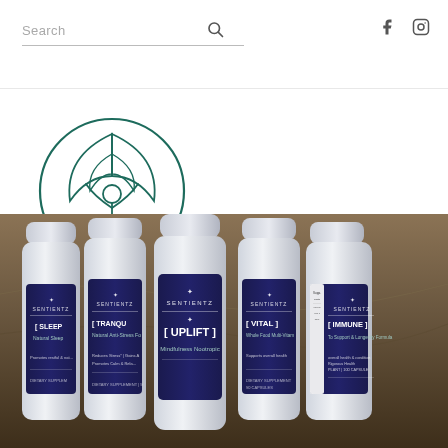Search
[Figure (logo): Sentientz logo with meditating figure under leaf arch, teal color, with text SENTIENTZ below]
[Figure (photo): Five white supplement bottles with dark navy blue labels showing SENTIENTZ brand products: SLEEP, TRANQUIL, UPLIFT, VITAL, IMMUNE, arranged in a row against a rocky background]